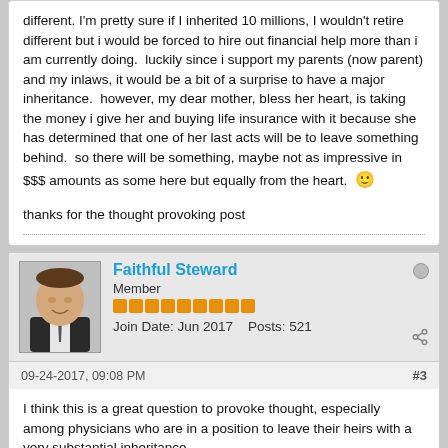different. I'm pretty sure if I inherited 10 millions, I wouldn't retire different but i would be forced to hire out financial help more than i am currently doing. luckily since i support my parents (now parent) and my inlaws, it would be a bit of a surprise to have a major inheritance. however, my dear mother, bless her heart, is taking the money i give her and buying life insurance with it because she has determined that one of her last acts will be to leave something behind. so there will be something, maybe not as impressive in $$$ amounts as some here but equally from the heart. 🙂

thanks for the thought provoking post
Faithful Steward
Member
Join Date: Jun 2017  Posts: 521
09-24-2017, 09:08 PM  #3
I think this is a great question to provoke thought, especially among physicians who are in a position to leave their heirs with a very substantial inheritance.